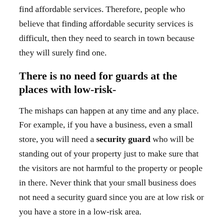find affordable services. Therefore, people who believe that finding affordable security services is difficult, then they need to search in town because they will surely find one.
There is no need for guards at the places with low-risk-
The mishaps can happen at any time and any place. For example, if you have a business, even a small store, you will need a security guard who will be standing out of your property just to make sure that the visitors are not harmful to the property or people in there. Never think that your small business does not need a security guard since you are at low risk or you have a store in a low-risk area.
Security guards do not have to look like a bodybuilder-